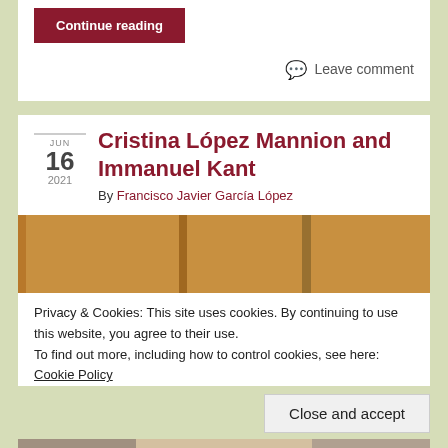Continue reading
Leave comment
Cristina López Mannion and Immanuel Kant
By Francisco Javier García López
[Figure (photo): Brown wooden surface or book covers, split into vertical panels]
Privacy & Cookies: This site uses cookies. By continuing to use this website, you agree to their use.
To find out more, including how to control cookies, see here: Cookie Policy
Close and accept
[Figure (photo): Partial photo at bottom of page, showing people or content, cut off]